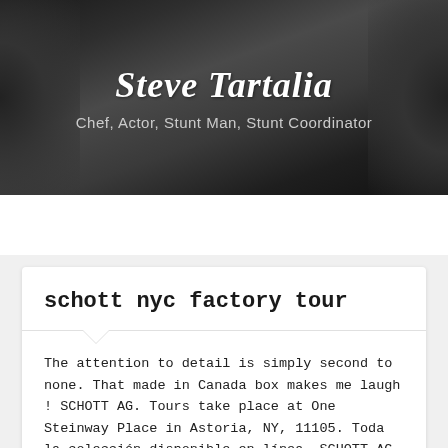Steve Tartalia
Chef, Actor, Stunt Man, Stunt Coordinator
[Figure (screenshot): Navigation bar with hamburger menu icon on left and search icon on right, dark gray background]
schott nyc factory tour
The attention to detail is simply second to none. That made in Canada box makes me laugh ! SCHOTT AG. Tours take place at One Steinway Place in Astoria, NY, 11105. Toda la colección disponible en línea. SCHOTT AG SCHOTT S...